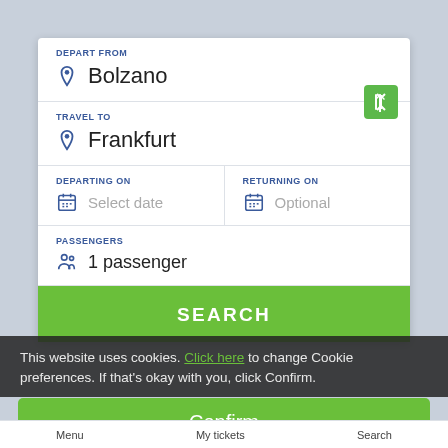DEPART FROM
Bolzano
TRAVEL TO
Frankfurt
DEPARTING ON
Select date
RETURNING ON
Optional
PASSENGERS
1 passenger
SEARCH
This website uses cookies. Click here to change Cookie preferences. If that's okay with you, click Confirm.
Confirm
Menu   My tickets   Search